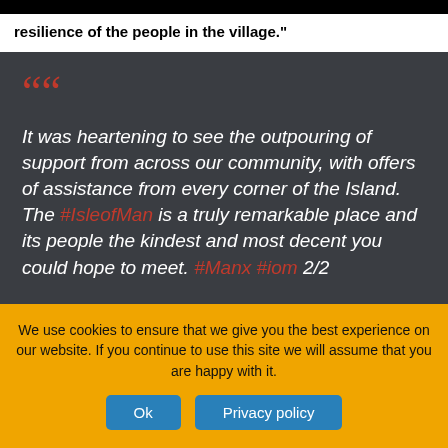resilience of the people in the village."
It was heartening to see the outpouring of support from across our community, with offers of assistance from every corner of the Island. The #IsleofMan is a truly remarkable place and its people the kindest and most decent you could hope to meet. #Manx #iom 2/2
We use cookies to ensure that we give you the best experience on our website. If you continue to use this site we will assume that you are happy with it.